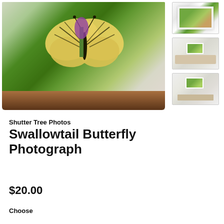[Figure (photo): Main product image of a yellow swallowtail butterfly on purple flowers, displayed as a print on a wooden shelf against a white brick wall. Three thumbnail images on the right showing the print in framed and room settings.]
Shutter Tree Photos
Swallowtail Butterfly Photograph
$20.00
Choose